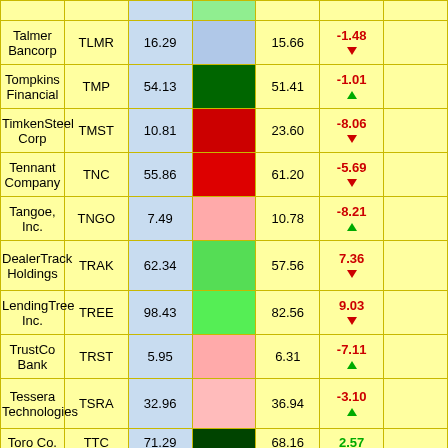| Company | Ticker | Price | Color | Value | Change | Extra |
| --- | --- | --- | --- | --- | --- | --- |
| Talmer Bancorp | TLMR | 16.29 |  | 15.66 | -1.48 ▼ |  |
| Tompkins Financial | TMP | 54.13 |  | 51.41 | -1.01 ▲ |  |
| TimkenSteel Corp | TMST | 10.81 |  | 23.60 | -8.06 ▼ |  |
| Tennant Company | TNC | 55.86 |  | 61.20 | -5.69 ▼ |  |
| Tangoe, Inc. | TNGO | 7.49 |  | 10.78 | -8.21 ▲ |  |
| DealerTrack Holdings | TRAK | 62.34 |  | 57.56 | 7.36 ▼ |  |
| LendingTree Inc. | TREE | 98.43 |  | 82.56 | 9.03 ▼ |  |
| TrustCo Bank | TRST | 5.95 |  | 6.31 | -7.11 ▲ |  |
| Tessera Technologies | TSRA | 32.96 |  | 36.94 | -3.10 ▲ |  |
| Toro Co | TTC | 71.29 |  | 68.16 | 2.57 |  |